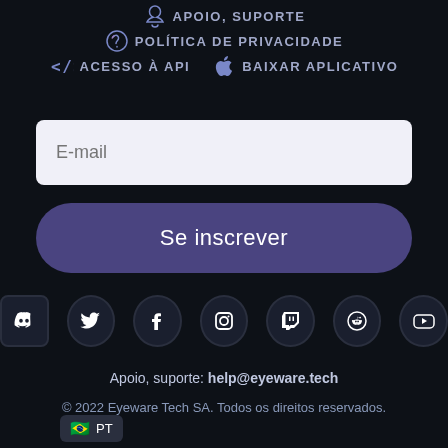APOIO, SUPORTE
POLÍTICA DE PRIVACIDADE
ACESSO À API
BAIXAR APLICATIVO
E-mail
Se inscrever
[Figure (other): Social media icons: Discord, Twitter, Facebook, Instagram, Twitch, Reddit, YouTube]
Apoio, suporte: help@eyeware.tech
© 2022 Eyeware Tech SA. Todos os direitos reservados.
🇧🇷 PT